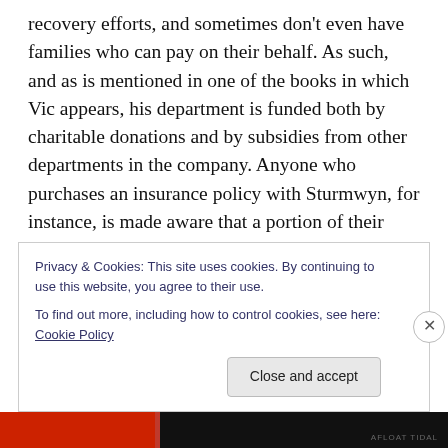recovery efforts, and sometimes don't even have families who can pay on their behalf. As such, and as is mentioned in one of the books in which Vic appears, his department is funded both by charitable donations and by subsidies from other departments in the company. Anyone who purchases an insurance policy with Sturmwyn, for instance, is made aware that a portion of their premiums go to subsidize the missing persons department. There's also the factor that sometimes the kidnappers aren't caught or even identified, and so can't be made to provide restitution to their victims, so the donations and subsidies
Privacy & Cookies: This site uses cookies. By continuing to use this website, you agree to their use.
To find out more, including how to control cookies, see here: Cookie Policy